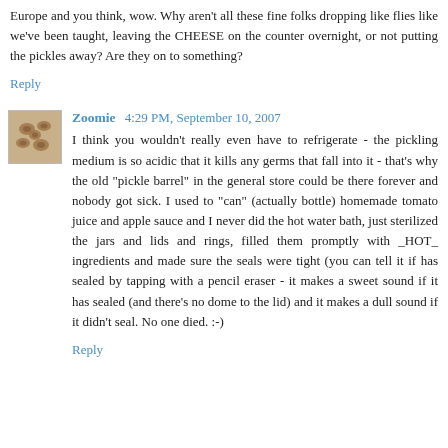Europe and you think, wow. Why aren't all these fine folks dropping like flies like we've been taught, leaving the CHEESE on the counter overnight, or not putting the pickles away? Are they on to something?
Reply
Zoomie  4:29 PM, September 10, 2007
I think you wouldn't really even have to refrigerate - the pickling medium is so acidic that it kills any germs that fall into it - that's why the old "pickle barrel" in the general store could be there forever and nobody got sick. I used to "can" (actually bottle) homemade tomato juice and apple sauce and I never did the hot water bath, just sterilized the jars and lids and rings, filled them promptly with _HOT_ ingredients and made sure the seals were tight (you can tell it if has sealed by tapping with a pencil eraser - it makes a sweet sound if it has sealed (and there's no dome to the lid) and it makes a dull sound if it didn't seal. No one died. :-)
Reply